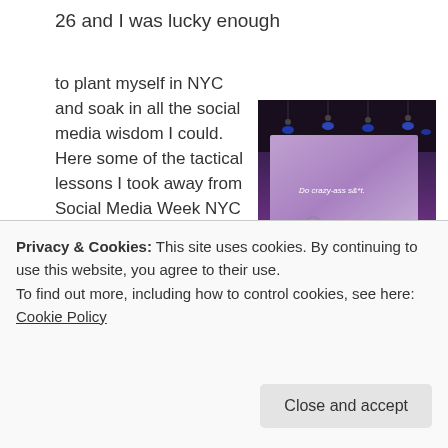26 and I was lucky enough
to plant myself in NYC and soak in all the social media wisdom I could.  Here some of the tactical lessons I took away from Social Media Week NYC 2016:
[Figure (photo): Conference stage with purple-lit screen displaying 'Do crazy-ass s&*t.' text and Social Media Week NYC yellow logo banner in foreground]
Get really good at using Facebook
Privacy & Cookies: This site uses cookies. By continuing to use this website, you agree to their use.
To find out more, including how to control cookies, see here: Cookie Policy
your company
should to offer social media